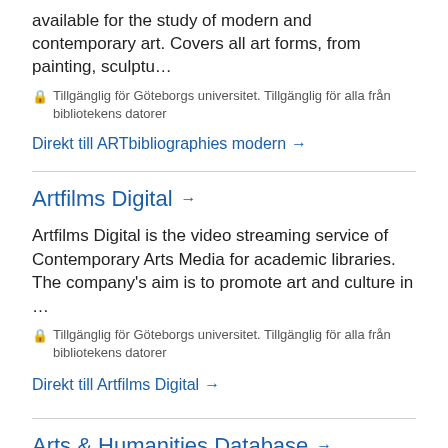available for the study of modern and contemporary art. Covers all art forms, from painting, sculptu…
🔒 Tillgänglig för Göteborgs universitet. Tillgänglig för alla från bibliotekens datorer
Direkt till ARTbibliographies modern →
Artfilms Digital →
Artfilms Digital is the video streaming service of Contemporary Arts Media for academic libraries. The company's aim is to promote art and culture in …
🔒 Tillgänglig för Göteborgs universitet. Tillgänglig för alla från bibliotekens datorer
Direkt till Artfilms Digital →
Arts & Humanities Database →